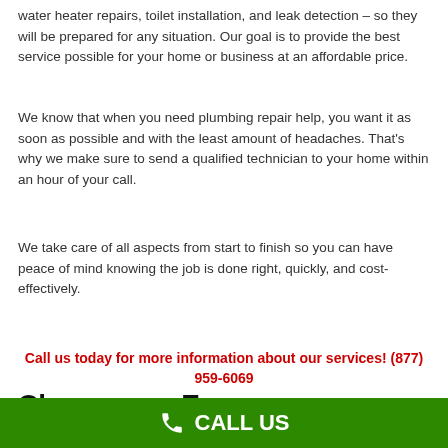water heater repairs, toilet installation, and leak detection – so they will be prepared for any situation. Our goal is to provide the best service possible for your home or business at an affordable price.
We know that when you need plumbing repair help, you want it as soon as possible and with the least amount of headaches. That's why we make sure to send a qualified technician to your home within an hour of your call.
We take care of all aspects from start to finish so you can have peace of mind knowing the job is done right, quickly, and cost-effectively.
Call us today for more information about our services! (877) 959-6069
Choose our Emergency Plumber Bryan TX Pro
CALL US